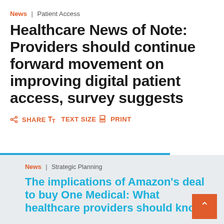News | Patient Access
Healthcare News of Note: Providers should continue forward movement on improving digital patient access, survey suggests
SHARE
TEXT SIZE
PRINT
News | Strategic Planning
The implications of Amazon's deal to buy One Medical: What healthcare providers should know